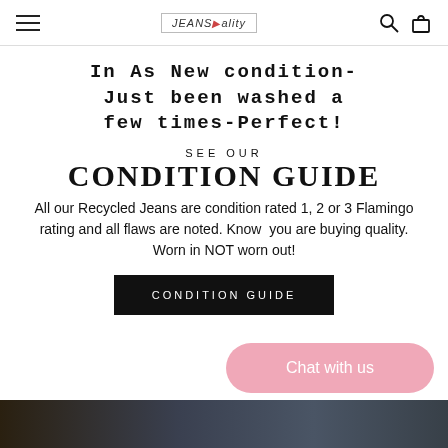JEANS logo navigation header with hamburger menu, logo, search and cart icons
In As New condition- Just been washed a few times-Perfect!
SEE OUR CONDITION GUIDE
All our Recycled Jeans are condition rated 1, 2 or 3 Flamingo rating and all flaws are noted. Know you are buying quality. Worn in NOT worn out!
CONDITION GUIDE
Chat with us
[Figure (photo): Photo strip showing jeans denim fabric at the bottom of the page]